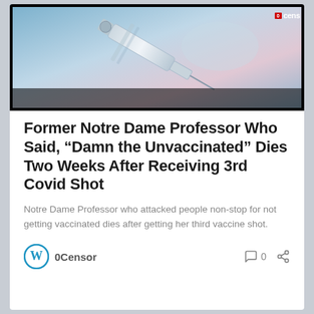[Figure (photo): Photo of a syringe/vaccine vial being held, with 0Censor news logos watermarked on left and right sides. Black border around image.]
Former Notre Dame Professor Who Said, “Damn the Unvaccinated” Dies Two Weeks After Receiving 3rd Covid Shot
Notre Dame Professor who attacked people non-stop for not getting vaccinated dies after getting her third vaccine shot.
0Censor   0